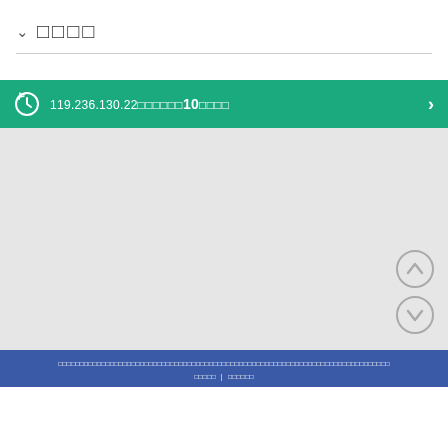∨ □□□□
119.236.130.22□□□□□□10□□□□
[Figure (screenshot): Gray content area with up/down navigation circle buttons at bottom right]
□□□□□□□□□□□□□□□□□□□□□□□□□□□□□□□□□□□□□□□□□□□□□□□□□□□□□□□□□□□□□□□□□□□□□□□□□□□ | □□□□□□